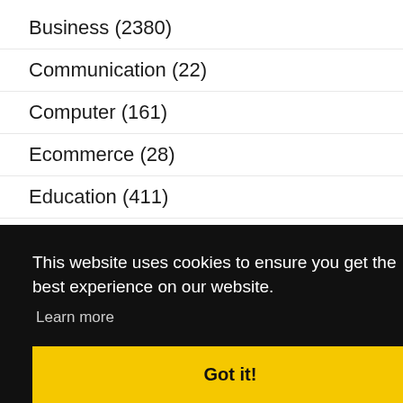Business (2380)
Communication (22)
Computer (161)
Ecommerce (28)
Education (411)
Electronics (95)
Energy (4)
This website uses cookies to ensure you get the best experience on our website.
Learn more
Got it!
ditions